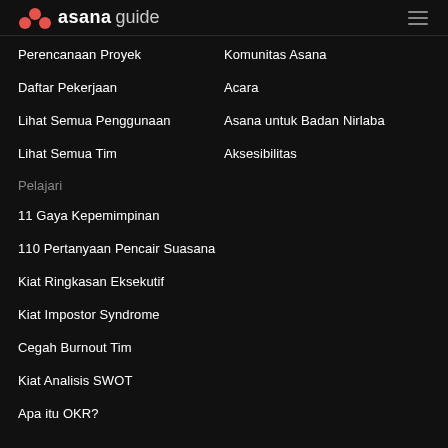asana guide
Perencanaan Proyek
Komunitas Asana
Daftar Pekerjaan
Acara
Lihat Semua Penggunaan
Asana untuk Badan Nirlaba
Lihat Semua Tim
Aksesibilitas
Pelajari
11 Gaya Kepemimpinan
110 Pertanyaan Pencair Suasana
Kiat Ringkasan Eksekutif
Kiat Impostor Syndrome
Cegah Burnout Tim
Kiat Analisis SWOT
Apa itu OKR?